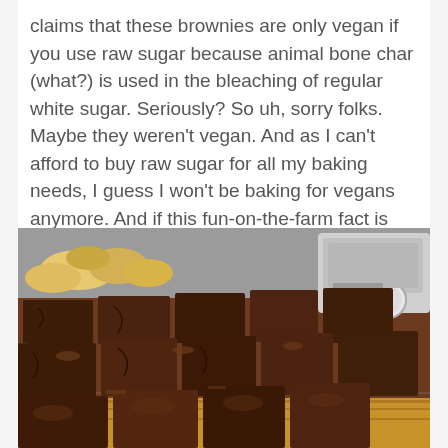claims that these brownies are only vegan if you use raw sugar because animal bone char (what?) is used in the bleaching of regular white sugar. Seriously? So uh, sorry folks. Maybe they weren't vegan. And as I can't afford to buy raw sugar for all my baking needs, I guess I won't be baking for vegans anymore. And if this fun-on-the-farm fact is actually true, we're doomed as a species anyway. Just when I was feeling sorry for the bees.
[Figure (photo): A tray of chocolate brownies cut into squares on a cooling rack, with what appears to be other baked goods and a kitchen appliance (toaster oven) visible in the background.]